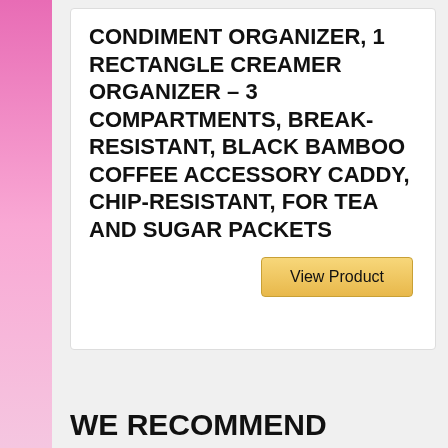CONDIMENT ORGANIZER, 1 RECTANGLE CREAMER ORGANIZER – 3 COMPARTMENTS, BREAK-RESISTANT, BLACK BAMBOO COFFEE ACCESSORY CADDY, CHIP-RESISTANT, FOR TEA AND SUGAR PACKETS
View Product
WE RECOMMEND